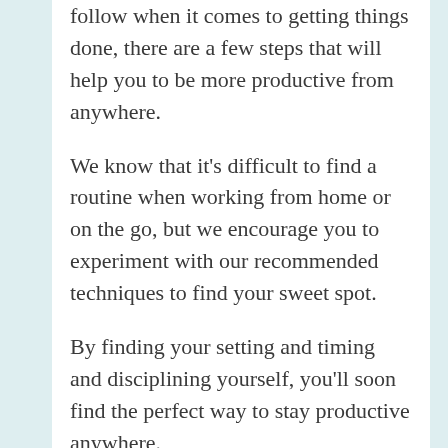follow when it comes to getting things done, there are a few steps that will help you to be more productive from anywhere.
We know that it's difficult to find a routine when working from home or on the go, but we encourage you to experiment with our recommended techniques to find your sweet spot.
By finding your setting and timing and disciplining yourself, you'll soon find the perfect way to stay productive anywhere.
This blog post has been re-published by kind permission of 8×8 – View